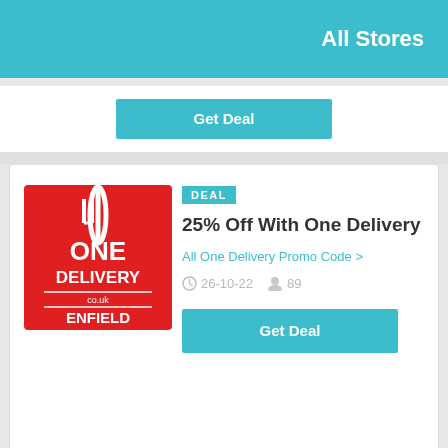All Stores
Get Deal
[Figure (logo): One Delivery Enfield logo — red square background with white fork graphic and text ONE DELIVERY co.uk ENFIELD]
DEAL
25% Off With One Delivery
All One Delivery Promo Code >
26-10-22   89
Get Deal
[Figure (logo): Zoosk logo in teal/blue color with a heart icon replacing the letter o]